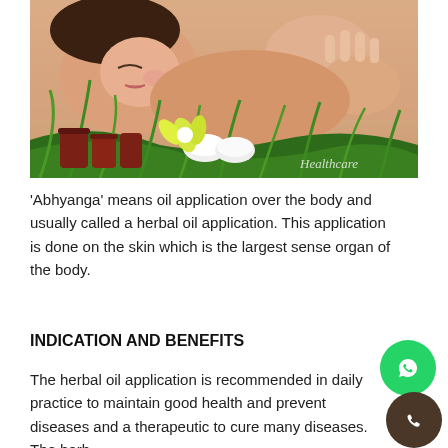[Figure (photo): Woman receiving a massage/oil treatment, with massage oil containers, rolled white towels, and green plant leaves in the foreground. Watermark reads 'Healthcare' in bottom right corner.]
'Abhyanga' means oil application over the body and usually called a herbal oil application. This application is done on the skin which is the largest sense organ of the body.
INDICATION AND BENEFITS
The herbal oil application is recommended in daily practice to maintain good health and prevent diseases and a therapeutic to cure many diseases. The herb